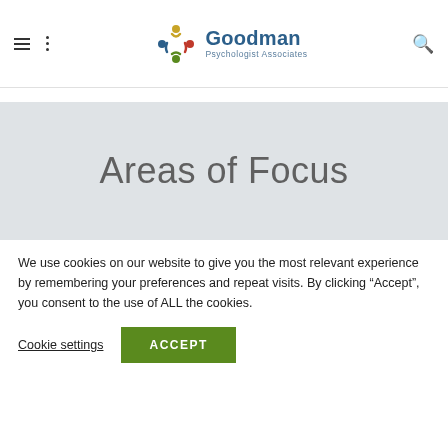[Figure (logo): Goodman Psychologist Associates logo with circular colorful figures icon and text]
Areas of Focus
We use cookies on our website to give you the most relevant experience by remembering your preferences and repeat visits. By clicking “Accept”, you consent to the use of ALL the cookies.
Cookie settings   ACCEPT